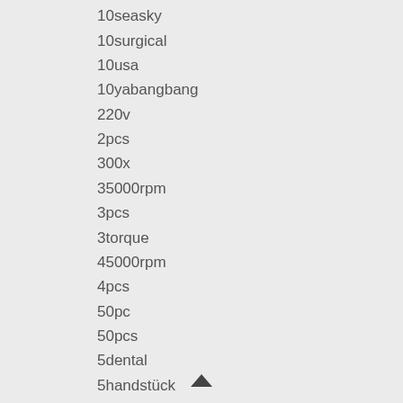10seasky
10surgical
10usa
10yabangbang
220v
2pcs
300x
35000rpm
3pcs
3torque
45000rpm
4pcs
50pc
50pcs
5dental
5handstück
–